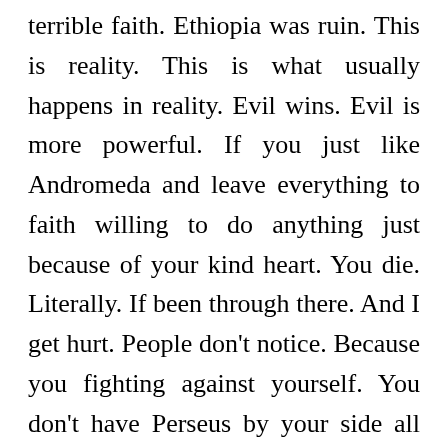terrible faith. Ethiopia was ruin. This is reality. This is what usually happens in reality. Evil wins. Evil is more powerful. If you just like Andromeda and leave everything to faith willing to do anything just because of your kind heart. You die. Literally. If been through there. And I get hurt. People don't notice. Because you fighting against yourself. You don't have Perseus by your side all the time. You are weak if you are too nice. Some times naïve. All the time a fool. If you are in Andromeda place. Don't do it. Don't just follow order just because you are told. Think grow up and find another way around. Be your own Perseus. Don't be so naïve. That is what Miss Andromeda that... And I get to know about...